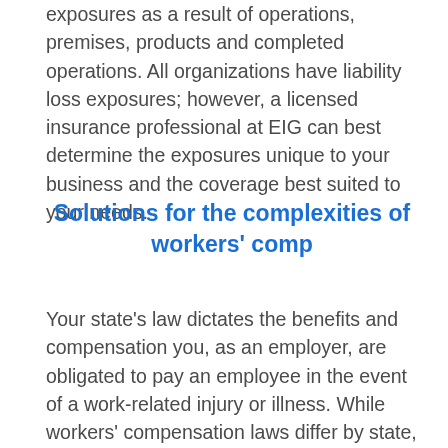exposures as a result of operations, premises, products and completed operations. All organizations have liability loss exposures; however, a licensed insurance professional at EIG can best determine the exposures unique to your business and the coverage best suited to your needs.
Solutions for the complexities of workers' comp
Your state's law dictates the benefits and compensation you, as an employer, are obligated to pay an employee in the event of a work-related injury or illness. While workers' compensation laws differ by state, coverage is typically compulsory, although certain small employers and types of employment may be exempt. The benefits covered by a Workers' Compensation Policy include medical, disability, and rehabilitation benefits. If an employee dies as a result of a work-related accident, funeral benefits and death